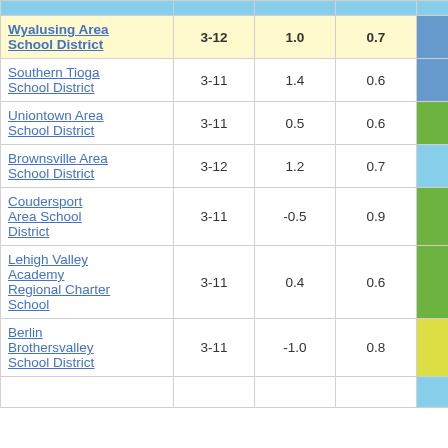| School District | Grades | Col3 | Col4 | Score |
| --- | --- | --- | --- | --- |
| Wyalusing Area School District | 3-12 | 1.0 | 0.7 | 1.58 |
| Southern Tioga School District | 3-11 | 1.4 | 0.6 | 2.28 |
| Uniontown Area School District | 3-11 | 0.5 | 0.6 | 0.79 |
| Brownsville Area School District | 3-12 | 1.2 | 0.7 | 1.56 |
| Coudersport Area School District | 3-11 | -0.5 | 0.9 | -0.53 |
| Lehigh Valley Academy Regional Charter School | 3-11 | 0.4 | 0.6 | 0.69 |
| Berlin Brothersvalley School District | 3-11 | -1.0 | 0.8 | -1.17 |